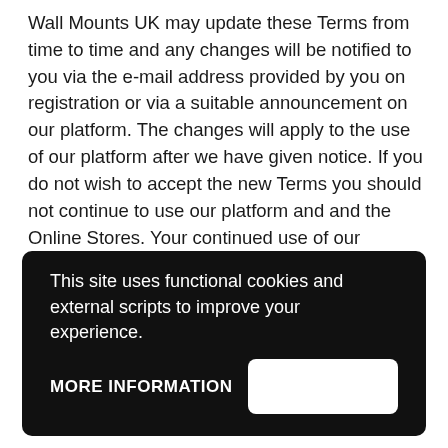Wall Mounts UK may update these Terms from time to time and any changes will be notified to you via the e-mail address provided by you on registration or via a suitable announcement on our platform. The changes will apply to the use of our platform after we have given notice. If you do not wish to accept the new Terms you should not continue to use our platform and and the Online Stores. Your continued use of our platform after the date on which the change comes into effect indicates your agreement to be bound by the new Terms.
This site uses functional cookies and external scripts to improve your experience.
MORE INFORMATION